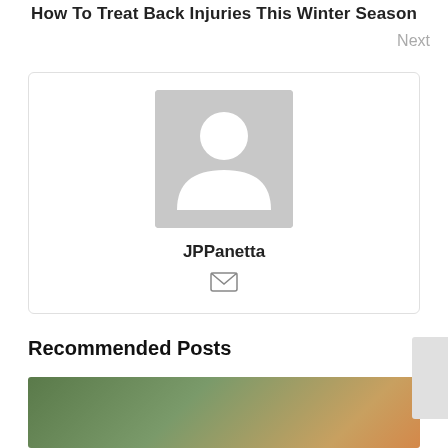How To Treat Back Injuries This Winter Season
Next
[Figure (illustration): User profile card with a gray default avatar placeholder, username JPPanetta, and a mail/envelope icon below the name.]
Recommended Posts
[Figure (photo): Thumbnail photo of outdoor trees and a structure, partially visible at the bottom of the page.]